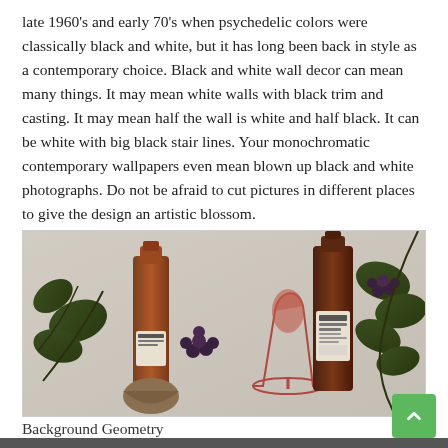late 1960's and early 70's when psychedelic colors were classically black and white, but it has long been back in style as a contemporary choice. Black and white wall decor can mean many things. It may mean white walls with black trim and casting. It may mean half the wall is white and half black. It can be white with big black stair lines. Your monochromatic contemporary wallpapers even mean blown up black and white photographs. Do not be afraid to cut pictures in different places to give the design an artistic blossom.
[Figure (photo): Decorative wall art featuring wine bottles, a wine glass, grapes, and vine leaves in a metallic/bronze finish mounted on a light-colored wall background.]
Background Geometry